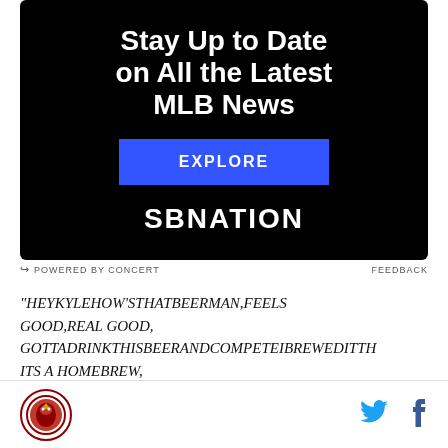[Figure (infographic): SBNation advertisement banner with black background. Headline: Stay Up to Date on All the Latest MLB News. Blue EXPLORE button. SBNATION logo in white bold text.]
POWERED BY CONCERT   FEEDBACK
"HEYKYLEHOW'STHATBEERMAN,FEELS GOOD,REAL GOOD, GOTTADRINKTHISBEERANDCOMPETEIBREWEDITTH ITS A HOMEBREW,
[Figure (logo): Round team logo with red border and bird/animal mascot inside]
[Figure (illustration): Twitter bird icon in blue and Facebook f icon in dark blue]